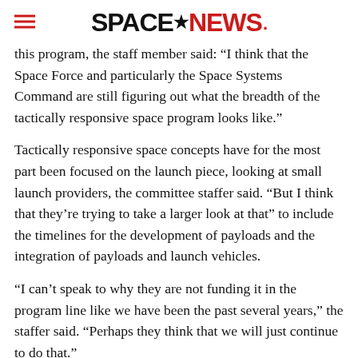SPACENEWS
this program, the staff member said: “I think that the Space Force and particularly the Space Systems Command are still figuring out what the breadth of the tactically responsive space program looks like.”
Tactically responsive space concepts have for the most part been focused on the launch piece, looking at small launch providers, the committee staffer said. “But I think that they’re trying to take a larger look at that” to include the timelines for the development of payloads and the integration of payloads and launch vehicles.
“I can’t speak to why they are not funding it in the program line like we have been the past several years,” the staffer said. “Perhaps they think that we will just continue to do that.”